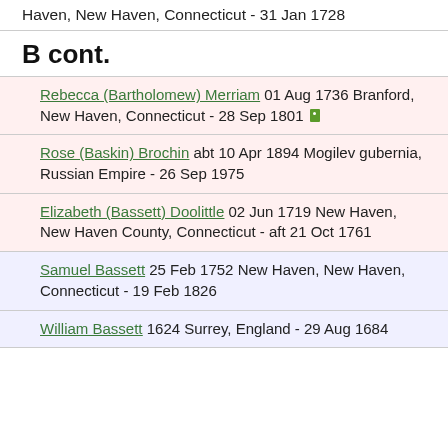Haven, New Haven, Connecticut - 31 Jan 1728
B cont.
Rebecca (Bartholomew) Merriam 01 Aug 1736 Branford, New Haven, Connecticut - 28 Sep 1801
Rose (Baskin) Brochin abt 10 Apr 1894 Mogilev gubernia, Russian Empire - 26 Sep 1975
Elizabeth (Bassett) Doolittle 02 Jun 1719 New Haven, New Haven County, Connecticut - aft 21 Oct 1761
Samuel Bassett 25 Feb 1752 New Haven, New Haven, Connecticut - 19 Feb 1826
William Bassett 1624 Surrey, England - 29 Aug 1684